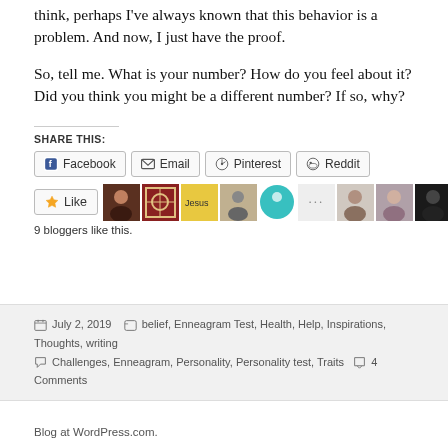think, perhaps I've always known that this behavior is a problem. And now, I just have the proof.
So, tell me. What is your number? How do you feel about it? Did you think you might be a different number? If so, why?
SHARE THIS:
Facebook  Email  Pinterest  Reddit
[Figure (infographic): Like button and 9 blogger avatars row]
9 bloggers like this.
July 2, 2019  belief, Enneagram Test, Health, Help, Inspirations, Thoughts, writing  Challenges, Enneagram, Personality, Personality test, Traits  4 Comments
Blog at WordPress.com.